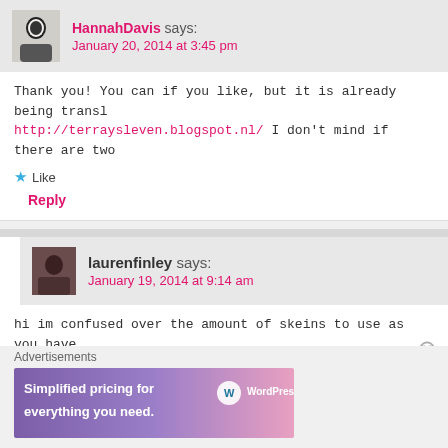HannahDavis says: January 20, 2014 at 3:45 pm
Thank you! You can if you like, but it is already being transl… http://terraysleven.blogspot.nl/ I don't mind if there are two
★ Like
Reply
laurenfinley says: January 19, 2014 at 9:14 am
hi im confused over the amount of skeins to use as you have ten colours and I really want this as my next project xx
★ Like
Reply
Advertisements
[Figure (screenshot): WordPress.com advertisement banner: 'Simplified pricing for everything you need.' with WordPress.com logo on gradient blue-pink background]